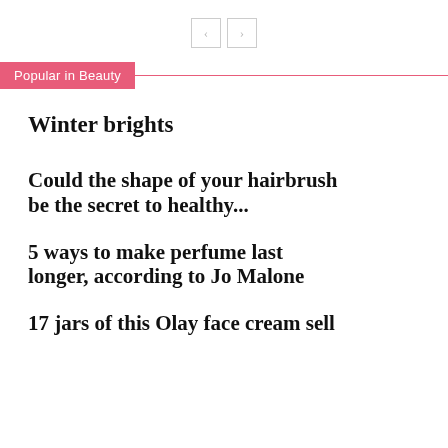[Figure (other): Navigation arrows: left chevron and right chevron buttons]
Popular in Beauty
Winter brights
Could the shape of your hairbrush be the secret to healthy...
5 ways to make perfume last longer, according to Jo Malone
17 jars of this Olay face cream sell